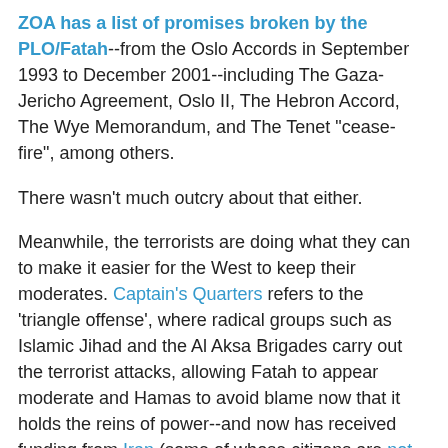ZOA has a list of promises broken by the PLO/Fatah--from the Oslo Accords in September 1993 to December 2001--including The Gaza-Jericho Agreement, Oslo II, The Hebron Accord, The Wye Memorandum, and The Tenet "cease-fire", among others.
There wasn't much outcry about that either.
Meanwhile, the terrorists are doing what they can to make it easier for the West to keep their moderates. Captain's Quarters refers to the 'triangle offense', where radical groups such as Islamic Jihad and the Al Aksa Brigades carry out the terrorist attacks, allowing Fatah to appear moderate and Hamas to avoid blame now that it holds the reins of power--and now has received funding from Iran (some of whose citizens are not too happy about the contribution--hat tip LGF) and Qatar, each contributing $50 million.
The result is the lulling of the West. Condemnation of terrorist attacks against Israeli civilians is given lip service--even as Israel is castigated in no uncertain terms when accidental Palestinian civilian occur when she retaliates. The